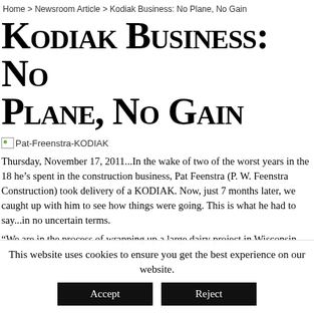Home > Newsroom Article > Kodiak Business: No Plane, No Gain
Kodiak Business: No Plane, No Gain
[Figure (photo): Pat-Freenstra-KODIAK image placeholder]
Thursday, November 17, 2011...In the wake of two of the worst years in the 18 he’s spent in the construction business, Pat Feenstra (P. W. Feenstra Construction) took delivery of a KODIAK. Now, just 7 months later, we caught up with him to see how things were going. This is what he had to say...in no uncertain terms.
"We are in the process of wrapping up a large dairy project in Wisconsin.
This website uses cookies to ensure you get the best experience on our website.